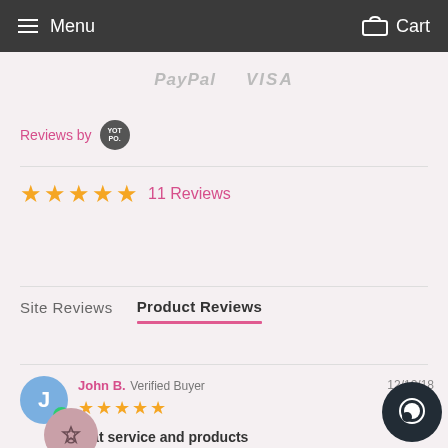Menu   Cart
[Figure (logo): PayPal and VISA payment logos in gray]
Reviews by YOTPO
★★★★★ 11 Reviews
Site Reviews   Product Reviews
John B.  Verified Buyer  12/12/18
★★★★★
Great service and products
I love NE Flower Boutique. Always delivering great service and products. My mom loved the arrangement!